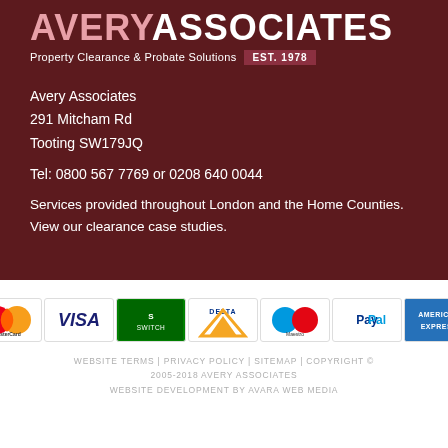[Figure (logo): Avery Associates logo with pink 'AVERY' and white 'ASSOCIATES' text, tagline 'Property Clearance & Probate Solutions' and 'EST. 1978' badge]
Avery Associates
291 Mitcham Rd
Tooting SW179JQ
Tel: 0800 567 7769 or 0208 640 0044
Services provided throughout London and the Home Counties. View our clearance case studies.
[Figure (other): Payment method icons: MasterCard, VISA, Switch, Delta, Maestro, PayPal, American Express]
WEBSITE TERMS | PRIVACY POLICY | SITEMAP | COPYRIGHT © 2005-2018 AVERY ASSOCIATES
WEBSITE DEVELOPMENT BY AVARA WEB MEDIA